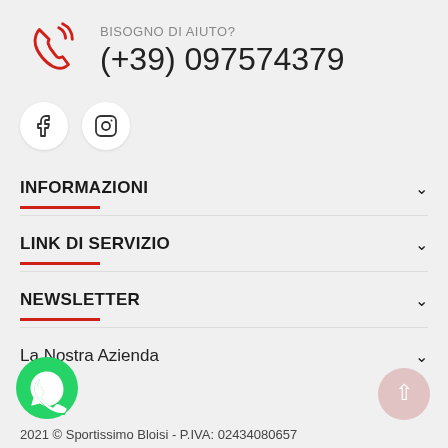BISOGNO DI AIUTO? (+39) 097574379
[Figure (infographic): Social media icons: Facebook and Instagram circular buttons]
INFORMAZIONI
LINK DI SERVIZIO
NEWSLETTER
La Nostra Azienda
[Figure (logo): WhatsApp green circular logo]
2021 © Sportissimo Bloisi - P.IVA: 02434080657